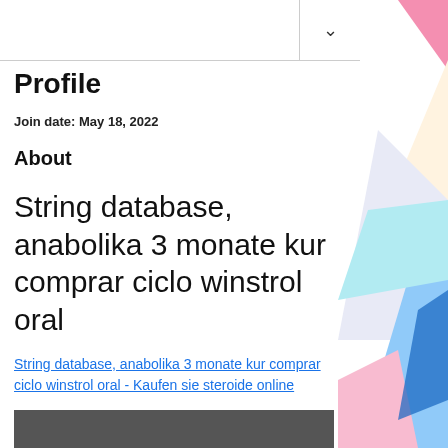∨
Profile
Join date: May 18, 2022
About
String database, anabolika 3 monate kur comprar ciclo winstrol oral
String database, anabolika 3 monate kur comprar ciclo winstrol oral - Kaufen sie steroide online
[Figure (photo): Bottom image partially visible, dark background]